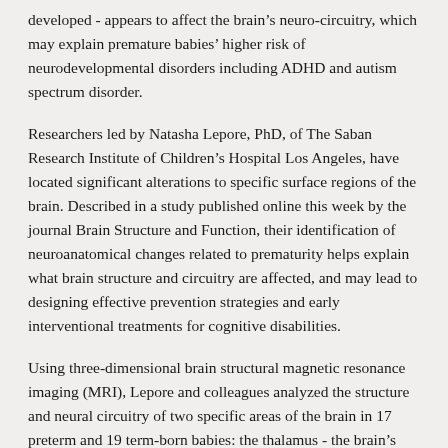developed - appears to affect the brain's neuro-circuitry, which may explain premature babies' higher risk of neurodevelopmental disorders including ADHD and autism spectrum disorder.
Researchers led by Natasha Lepore, PhD, of The Saban Research Institute of Children's Hospital Los Angeles, have located significant alterations to specific surface regions of the brain. Described in a study published online this week by the journal Brain Structure and Function, their identification of neuroanatomical changes related to prematurity helps explain what brain structure and circuitry are affected, and may lead to designing effective prevention strategies and early interventional treatments for cognitive disabilities.
Using three-dimensional brain structural magnetic resonance imaging (MRI), Lepore and colleagues analyzed the structure and neural circuitry of two specific areas of the brain in 17 preterm and 19 term-born babies: the thalamus - the brain's relay station, critical to sending and receiving sensory information- and the putamen, part of an intricate circuit connecting to the brain's frontal lobe and involved in a number of different processes, most